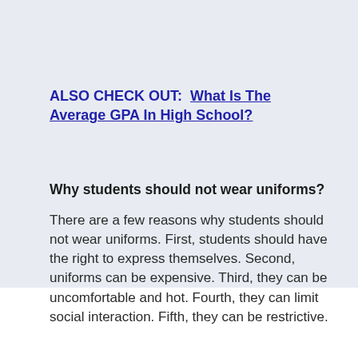ALSO CHECK OUT:  What Is The Average GPA In High School?
Why students should not wear uniforms?
There are a few reasons why students should not wear uniforms. First, students should have the right to express themselves. Second, uniforms can be expensive. Third, they can be uncomfortable and hot. Fourth, they can limit social interaction. Fifth, they can be restrictive.